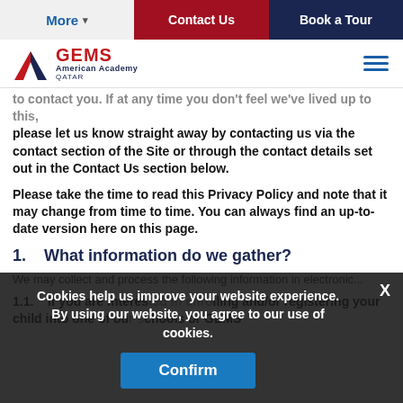More | Contact Us | Book a Tour
[Figure (logo): GEMS American Academy Qatar logo with red and blue triangular emblem]
to contact you. If at any time you don't feel we've lived up to this, please let us know straight away by contacting us via the contact section of the Site or through the contact details set out in the Contact Us section below.
Please take the time to read this Privacy Policy and note that it may change from time to time. You can always find an up-to-date version here on this page.
1.   What information do we gather?
We may collect and process the following information in electronic...
1.1.   If you are interested in enrolling and/or registering your child into one of our schools or GEMS...
Cookies help us improve your website experience. By using our website, you agree to our use of cookies.